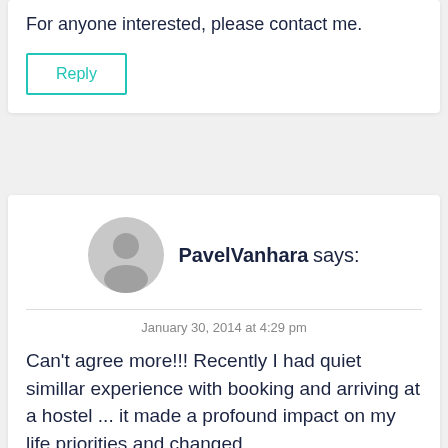For anyone interested, please contact me.
Reply
PavelVanhara says:
January 30, 2014 at 4:29 pm
Can't agree more!!! Recently I had quiet simillar experience with booking and arriving at a hostel ... it made a profound impact on my life priorities and changed